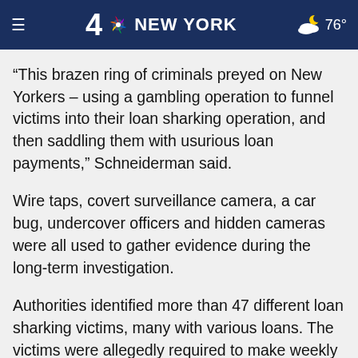4 NBC NEW YORK  76°
“This brazen ring of criminals preyed on New Yorkers – using a gambling operation to funnel victims into their loan sharking operation, and then saddling them with usurious loan payments,” Schneiderman said.
Wire taps, covert surveillance camera, a car bug, undercover officers and hidden cameras were all used to gather evidence during the long-term investigation.
Authorities identified more than 47 different loan sharking victims, many with various loans. The victims were allegedly required to make weekly payments with high interests by directly paying certain individuals or by dropping off the cash